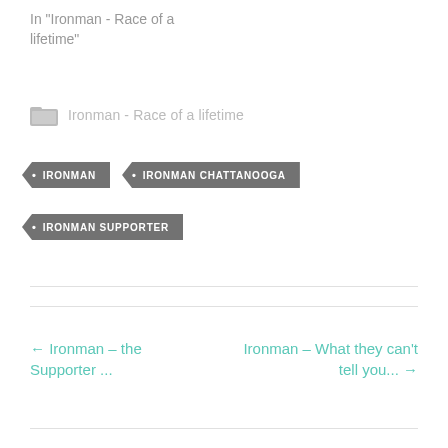In "Ironman - Race of a lifetime"
Ironman - Race of a lifetime
IRONMAN
IRONMAN CHATTANOOGA
IRONMAN SUPPORTER
← Ironman – the Supporter ...
Ironman – What they can't tell you... →